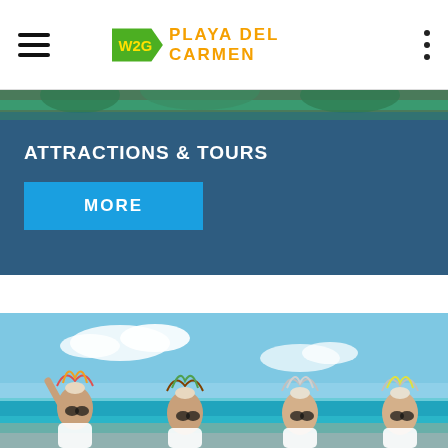W2G PLAYA DEL CARMEN
[Figure (photo): Partial view of a tropical photo strip at top]
ATTRACTIONS & TOURS
MORE
[Figure (photo): Four women on a beach wearing feathered headdresses and sunglasses, blue sky and turquoise sea in background]